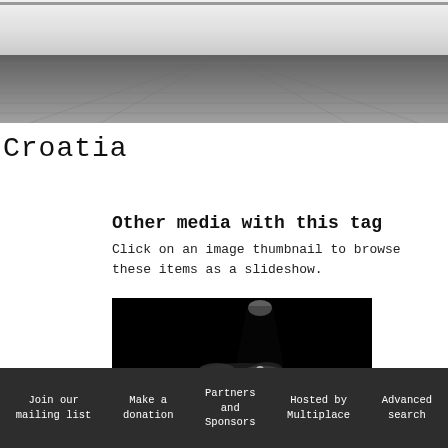[Figure (photo): Black and white photograph of an interior space showing a white wall and wooden floor in perspective]
Croatia
Other media with this tag
Click on an image thumbnail to browse these items as a slideshow.
[Figure (photo): Dark/black thumbnail image showing a figure illuminated by light on a dark background]
Join our mailing list   Make a donation   Partners and Sponsors   Hosted by Multiplace   Advanced search